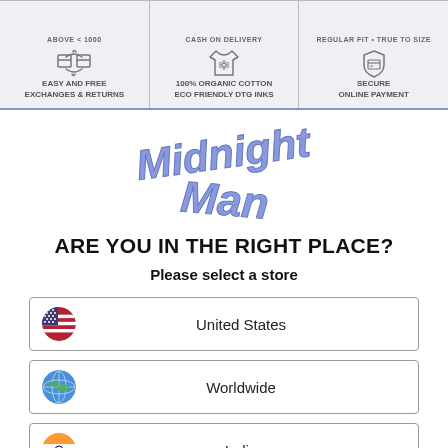[Figure (infographic): Three-column banner: Easy and Free Exchanges & Returns (box icon), 100% Organic Cotton Eco Friendly DTG Inks (shirt icon), Secure Online Payment (shield/card icon). Top row partial text: ABOVE < 1000, CASH ON DELIVERY, REGULAR FIT • TRUE TO SIZE]
[Figure (logo): Midnight Man brand logo in blue stylized lettering]
ARE YOU IN THE RIGHT PLACE?
Please select a store
United States
Worldwide
India